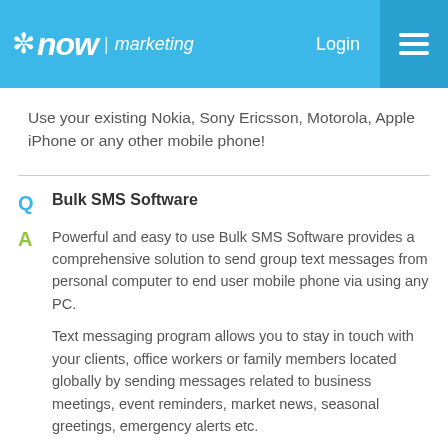*now | marketing  Login ☰
Use your existing Nokia, Sony Ericsson, Motorola, Apple iPhone or any other mobile phone!
Q  Bulk SMS Software
Powerful and easy to use Bulk SMS Software provides a comprehensive solution to send group text messages from personal computer to end user mobile phone via using any PC.
Text messaging program allows you to stay in touch with your clients, office workers or family members located globally by sending messages related to business meetings, event reminders, market news, seasonal greetings, emergency alerts etc.